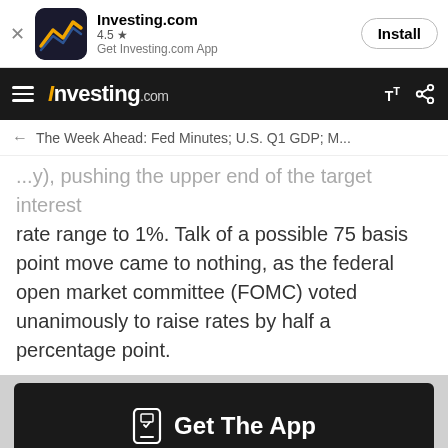[Figure (screenshot): App install banner showing Investing.com app with icon, 4.5 star rating, and Install button]
Investing.com
The Week Ahead: Fed Minutes; U.S. Q1 GDP; M...
...y), pushing the upper end of the target interest rate range to 1%. Talk of a possible 75 basis point move came to nothing, as the federal open market committee (FOMC) voted unanimously to raise rates by half a percentage point.
[Figure (infographic): Dark call-to-action banner with phone icon and text: Get The App]